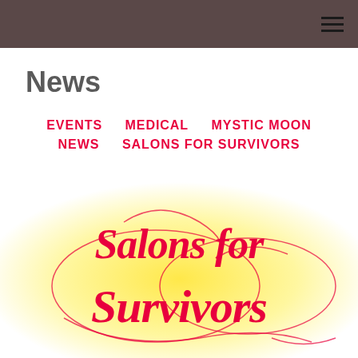News
EVENTS
MEDICAL
MYSTIC MOON
NEWS
SALONS FOR SURVIVORS
[Figure (logo): Salons for Survivors logo with decorative script text on a yellow-white gradient background with ornamental swirls. Hot pink text reading 'Salons for Survivors'.]